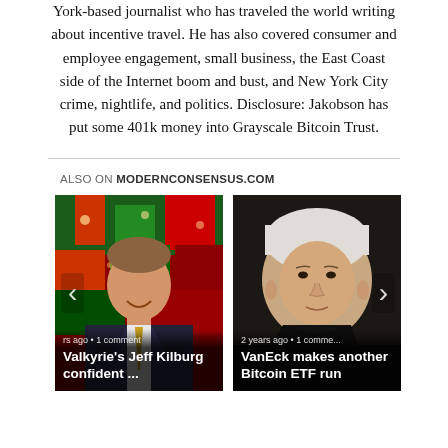York-based journalist who has traveled the world writing about incentive travel. He has also covered consumer and employee engagement, small business, the East Coast side of the Internet boom and bust, and New York City crime, nightlife, and politics. Disclosure: Jakobson has put some 401k money into Grayscale Bitcoin Trust.
ALSO ON MODERNCONSENSUS.COM
[Figure (photo): Photo of Jeff Kilburg against stock exchange board background with article title overlay 'Valkyrie's Jeff Kilburg confident ...' and meta '...rs ago • 1 comment']
[Figure (photo): Photo of Janet Yellen with article title overlay 'VanEck makes another Bitcoin ETF run' and meta '2 years ago • 1 comme...']